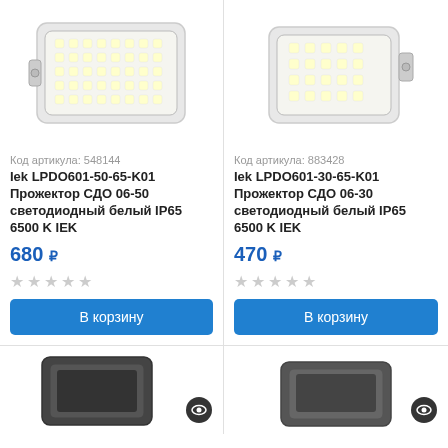[Figure (photo): IEK floodlight LED projector white, 50W model, top view showing LED array]
[Figure (photo): IEK floodlight LED projector white, 30W model, top view showing LED array]
Код артикула: 548144
Код артикула: 883428
Iek LPDO601-50-65-K01 Прожектор СДО 06-50 светодиодный белый IP65 6500 K IEK
Iek LPDO601-30-65-K01 Прожектор СДО 06-30 светодиодный белый IP65 6500 K IEK
680 ₽
470 ₽
В корзину
В корзину
[Figure (photo): IEK black floodlight LED projector, bottom-left product card, partially visible with eye/view icon]
[Figure (photo): IEK dark floodlight LED projector, bottom-right product card, partially visible with eye/view icon]